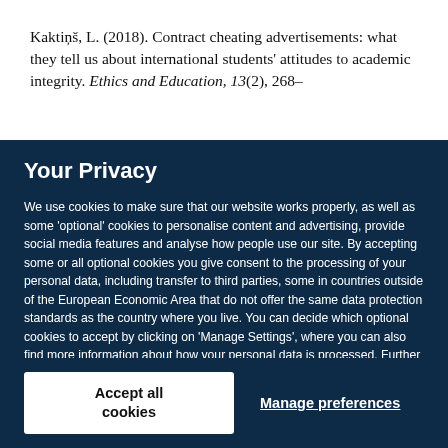Kaktiņš, L. (2018). Contract cheating advertisements: what they tell us about international students' attitudes to academic integrity. Ethics and Education, 13(2), 268–
Your Privacy
We use cookies to make sure that our website works properly, as well as some 'optional' cookies to personalise content and advertising, provide social media features and analyse how people use our site. By accepting some or all optional cookies you give consent to the processing of your personal data, including transfer to third parties, some in countries outside of the European Economic Area that do not offer the same data protection standards as the country where you live. You can decide which optional cookies to accept by clicking on 'Manage Settings', where you can also find more information about how your personal data is processed. Further information can be found in our privacy policy.
Accept all cookies
Manage preferences